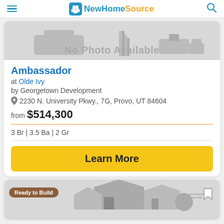NewHomeSource
[Figure (photo): No Photo Available placeholder image for Ambassador listing]
Ambassador
at Olde Ivy
by Georgetown Development
2230 N. University Pkwy., 7G, Provo, UT 84604
from $514,300
3 Br | 3.5 Ba | 2 Gr
Learn More
[Figure (photo): Second listing card partial view with Ready to Build badge and house illustration]